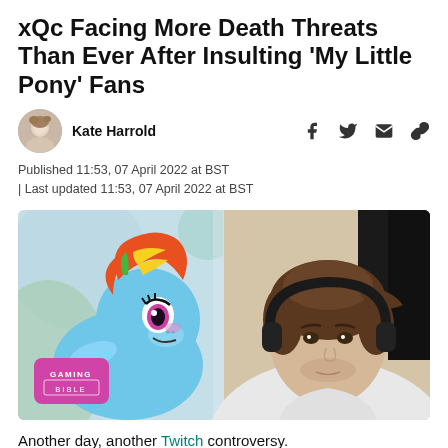xQc Facing More Death Threats Than Ever After Insulting 'My Little Pony' Fans
Kate Harrold
Published 11:53, 07 April 2022 at BST | Last updated 11:53, 07 April 2022 at BST
[Figure (photo): Split image showing My Little Pony animated character Rainbow Dash on the left and streamer xQc wearing headphones on the right, with a Gaming Bible logo badge in the bottom left corner]
Another day, another Twitch controversy.